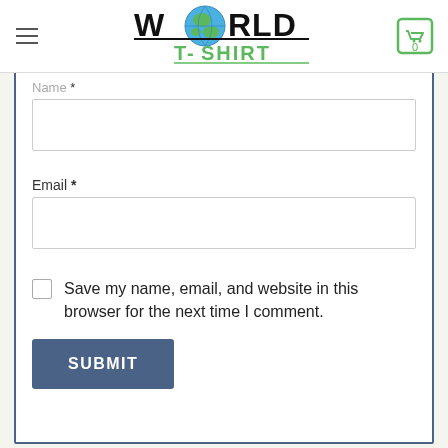[Figure (logo): World T-Shirt logo with globe replacing the 'O' in WORLD, green text T-SHIRT below]
Name *
Email *
Save my name, email, and website in this browser for the next time I comment.
SUBMIT